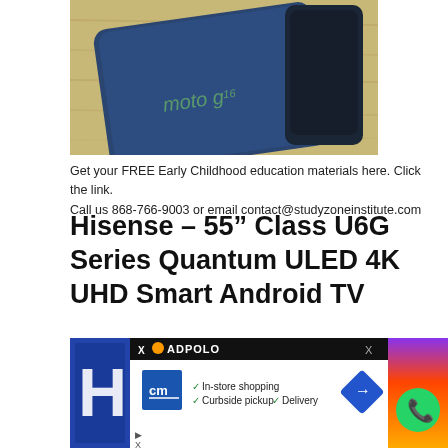[Figure (photo): Photo of a dark blue Moto G16 smartphone lying on a wooden surface next to another dark smartphone]
Get your FREE Early Childhood education materials here. Click the link.
Call us 868-766-9003 or email contact@studyzoneinstitute.com
Hisense – 55” Class U6G Series Quantum ULED 4K UHD Smart Android TV
[Figure (screenshot): Advertisement banner showing ADPOLO ad network with CM store logo, featuring In-store shopping, Curbside pickup, and Delivery options, overlaid on a Hisense TV product image with colorful abstract background and WhatsApp icon]